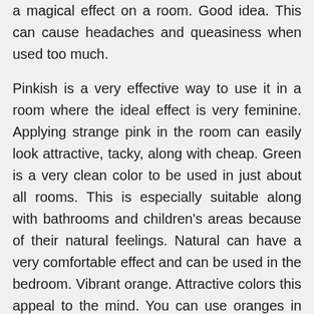a magical effect on a room. Good idea. This can cause headaches and queasiness when used too much.

Pinkish is a very effective way to use it in a room where the ideal effect is very feminine. Applying strange pink in the room can easily look attractive, tacky, along with cheap. Green is a very clean color to be used in just about all rooms. This is especially suitable along with bathrooms and children's areas because of their natural feelings. Natural can have a very comfortable effect and can be used in the bedroom. Vibrant orange. Attractive colors this appeal to the mind. You can use oranges in any room you want to sense passionately. Red is one of the useful colors you can use. It demonstrates strength, enthusiasm and even demonstrates aggression for this. The idea for your use of red includes typically the dining